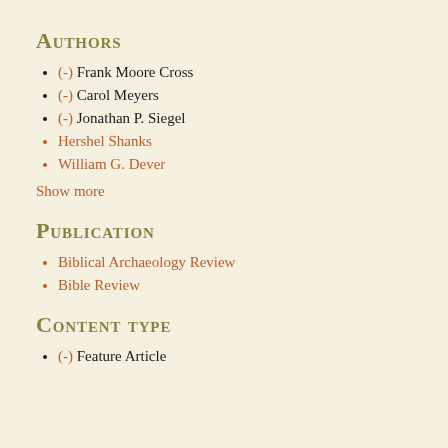Authors
(-) Frank Moore Cross
(-) Carol Meyers
(-) Jonathan P. Siegel
Hershel Shanks
William G. Dever
Show more
Publication
Biblical Archaeology Review
Bible Review
Content type
(-) Feature Article